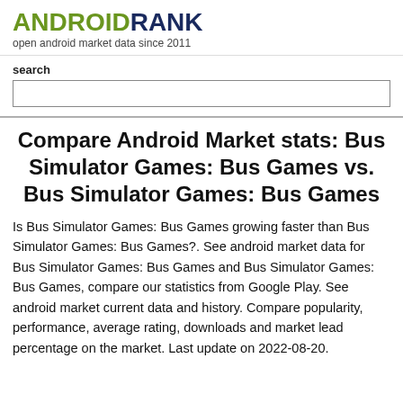ANDROIDRANK
open android market data since 2011
search
Compare Android Market stats: Bus Simulator Games: Bus Games vs. Bus Simulator Games: Bus Games
Is Bus Simulator Games: Bus Games growing faster than Bus Simulator Games: Bus Games?. See android market data for Bus Simulator Games: Bus Games and Bus Simulator Games: Bus Games, compare our statistics from Google Play. See android market current data and history. Compare popularity, performance, average rating, downloads and market lead percentage on the market. Last update on 2022-08-20.